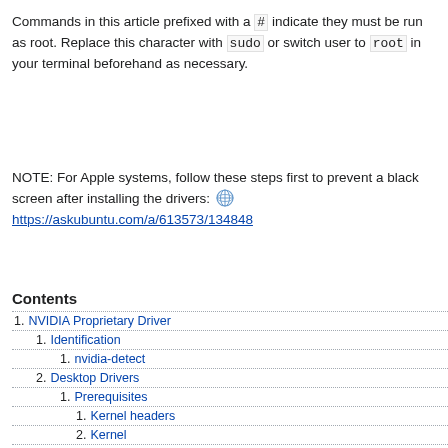Commands in this article prefixed with a # indicate they must be run as root. Replace this character with sudo or switch user to root in your terminal beforehand as necessary.
NOTE: For Apple systems, follow these steps first to prevent a black screen after installing the drivers: 🌐 https://askubuntu.com/a/613573/134848
Contents
1. NVIDIA Proprietary Driver
1. Identification
1. nvidia-detect
2. Desktop Drivers
1. Prerequisites
1. Kernel headers
2. Kernel
2. Installation